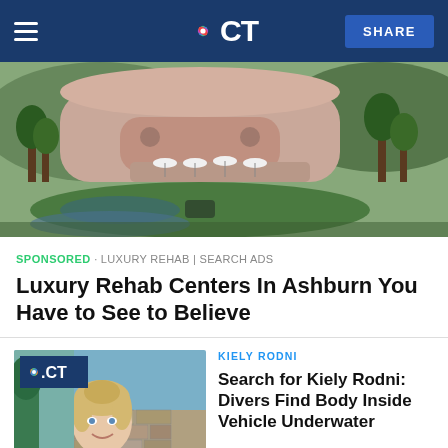NBC CT — SHARE
[Figure (photo): Aerial view of a luxury resort or rehab center with curved pink/beige architecture, surrounded by tropical landscaping, waterfalls, and lush greenery.]
SPONSORED · LUXURY REHAB | SEARCH ADS
Luxury Rehab Centers In Ashburn You Have to See to Believe
[Figure (photo): Young blonde woman smiling outdoors, NBC CT logo overlay in top-left corner.]
KIELY RODNI
Search for Kiely Rodni: Divers Find Body Inside Vehicle Underwater